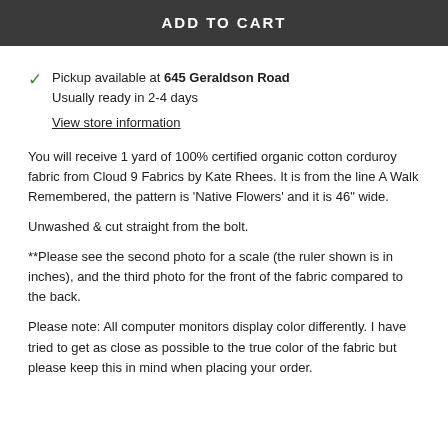ADD TO CART
Pickup available at 645 Geraldson Road
Usually ready in 2-4 days
View store information
You will receive 1 yard of 100% certified organic cotton corduroy fabric from Cloud 9 Fabrics by Kate Rhees. It is from the line A Walk Remembered, the pattern is 'Native Flowers' and it is 46" wide.
Unwashed & cut straight from the bolt.
**Please see the second photo for a scale (the ruler shown is in inches), and the third photo for the front of the fabric compared to the back.
Please note: All computer monitors display color differently. I have tried to get as close as possible to the true color of the fabric but please keep this in mind when placing your order.